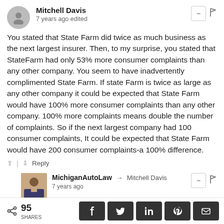Mitchell Davis
7 years ago edited
You stated that State Farm did twice as much business as the next largest insurer. Then, to my surprise, you stated that StateFarm had only 53% more consumer complaints than any other company. You seem to have inadvertently complimented State Farm. If state Farm is twice as large as any other company it could be expected that State Farm would have 100% more consumer complaints than any other company. 100% more complaints means double the number of complaints. So if the next largest company had 100 consumer complaints, It could be expected that State Farm would have 200 consumer complaints-a 100% difference.
Reply
MichiganAutoLaw → Mitchell Davis
7 years ago
Thank you for your comment. We understand your point,
95 SHARES